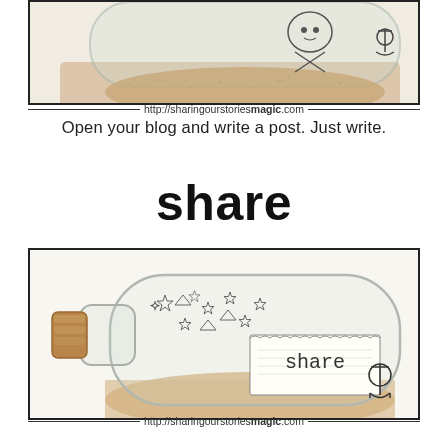[Figure (photo): A glass bottle filled with sand, with nautical/pirate themed illustrations inside, partially cropped at top of page. URL http://sharingourstoriesmagic.com shown at bottom of image border.]
Open your blog and write a post. Just write.
share
[Figure (photo): A glass bottle with a cork stopper, filled with sand, stars drawn inside, and a note card reading 'share' with an anchor illustration. URL http://sharingourstoriesmagic.com shown at bottom of image border.]